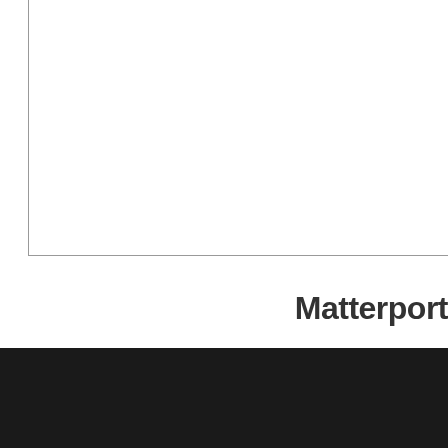[Figure (continuous-plot): Partial view of a financial chart with left vertical axis border and bottom horizontal axis border visible. The chart area is mostly white/empty in this cropped view.]
Matterport
[Figure (other): Dark/black footer bar at the bottom of the page]